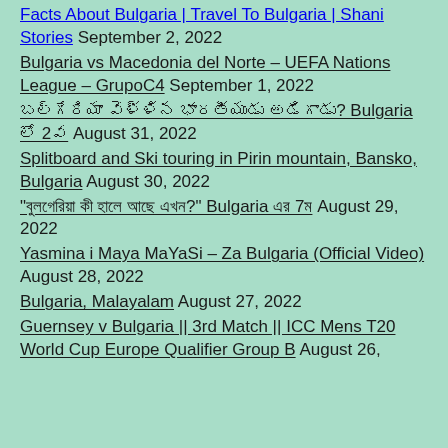Facts About Bulgaria | Travel To Bulgaria | Shani Stories September 2, 2022
Bulgaria vs Macedonia del Norte – UEFA Nations League – GrupoC4 September 1, 2022
బల్గేరియా వెళ్ళిన భారతీయుడు అడిగాడు? Bulgaria లో 2వ August 31, 2022
Splitboard and Ski touring in Pirin mountain, Bansko, Bulgaria August 30, 2022
"বুলগেরিয়া কী হালে আছে এখন?" Bulgaria এর 7ম August 29, 2022
Yasmina i Maya MaYaSi – Za Bulgaria (Official Video) August 28, 2022
Bulgaria, Malayalam August 27, 2022
Guernsey v Bulgaria || 3rd Match || ICC Mens T20 World Cup Europe Qualifier Group B August 26,